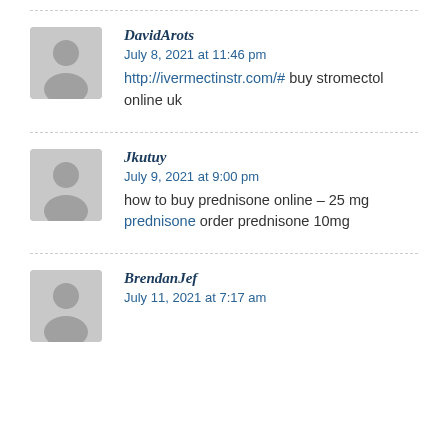DavidArots
July 8, 2021 at 11:46 pm
http://ivermectinstr.com/# buy stromectol online uk
Jkutuy
July 9, 2021 at 9:00 pm
how to buy prednisone online – 25 mg prednisone order prednisone 10mg
BrendanJef
July 11, 2021 at 7:17 am